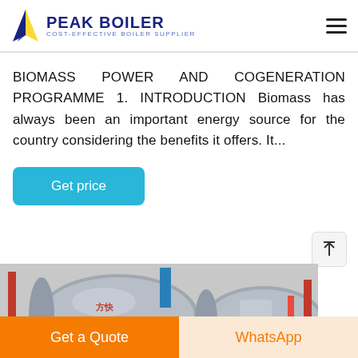PEAK BOILER — COST-EFFECTIVE BOILER SUPPLIER
BIOMASS POWER AND COGENERATION PROGRAMME 1. INTRODUCTION Biomass has always been an important energy source for the country considering the benefits it offers. It...
Get price
[Figure (photo): Industrial boilers in a facility — two large cylindrical silver boilers with Chinese text markings (方快/FANGKUAI), surrounded by red and yellow pipes and machinery]
Get a Quote
WhatsApp